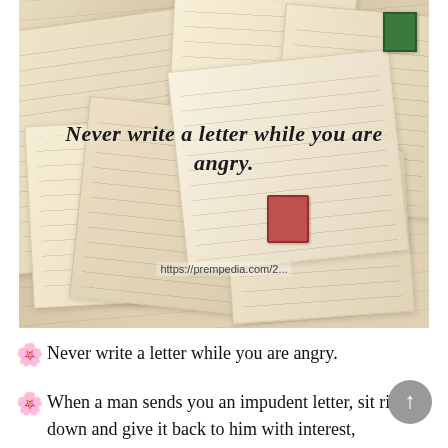[Figure (photo): A collage of old handwritten letters and postcards on aged paper, overlapping at various angles. A teal postage stamp is visible top right, a red postage stamp in the middle-right area. Overlaid text in cursive script reads: Never write a letter while you are angry. A URL 'https://prempedia.com/2...' is visible at the bottom of the image.]
🌸 Never write a letter while you are angry.
🌸 When a man sends you an impudent letter, sit right down and give it back to him with interest,